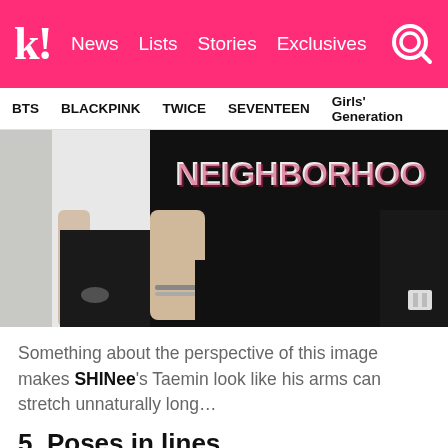k! News Lists Stories Exclusives
BTS  BLACKPINK  TWICE  SEVENTEEN  Girls' Generation
[Figure (photo): Close-up photo of person wearing a black Neighborhood oversized t-shirt and black ripped jeans, taken from mid-torso down, showing long arms at sides. A second person in a white graphic tee is partially visible in the background.]
Something about the perspective of this image makes SHINee's Taemin look like his arms can stretch unnaturally long…
5. Poses in lines...